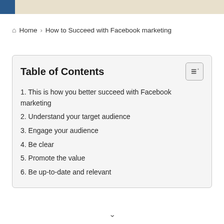Home > How to Succeed with Facebook marketing
Table of Contents
1. This is how you better succeed with Facebook marketing
2. Understand your target audience
3. Engage your audience
4. Be clear
5. Promote the value
6. Be up-to-date and relevant